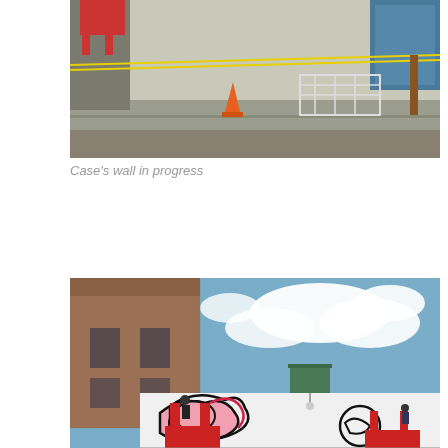[Figure (photo): Street scene showing a construction or mural site in progress. Orange traffic cone on the left, metal barriers/crowd control fencing in the center, yellow caution tape strung across the scene. A red scissor lift is visible at the top left. Background shows a building wall with the beginning of a mural and some trees.]
Case's wall in progress
[Figure (photo): Outdoor photo looking up at a large building in an urban setting. On the left is a multi-story brick building. The sky is blue with white clouds. In the lower portion, a white-painted brick wall shows a large mural in progress with black outlined and pink/red colored organic shapes. Two artists are visible on red scissor lifts working on the mural.]